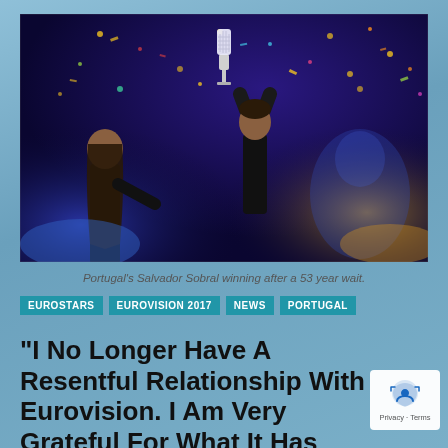[Figure (photo): Portugal's Salvador Sobral holding up the Eurovision trophy with confetti falling around him on stage, with a woman beside him.]
Portugal's Salvador Sobral winning after a 53 year wait.
EUROSTARS | EUROVISION 2017 | NEWS | PORTUGAL
"I No Longer Have A Resentful Relationship With Eurovision. I Am Very Grateful For What It Has Brought